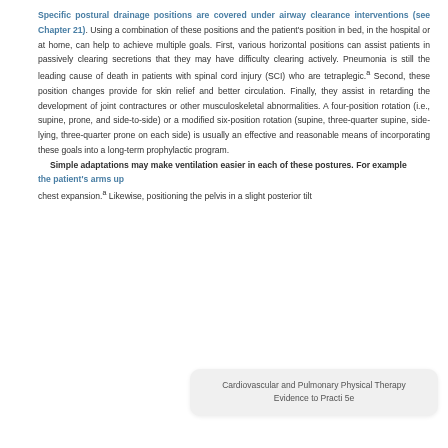Specific postural drainage positions are covered under airway clearance interventions (see Chapter 21). Using a combination of these positions and the patient's position in bed, in the hospital or at home, can help to achieve multiple goals. First, various horizontal positions can assist patients in passively clearing secretions that they may have difficulty clearing actively. Pneumonia is still the leading cause of death in patients with spinal cord injury (SCI) who are tetraplegic.a Second, these position changes provide for skin relief and better circulation. Finally, they assist in retarding the development of joint contractures or other musculoskeletal abnormalities. A four-position rotation (i.e., supine, prone, and side-to-side) or a modified six-position rotation (supine, three-quarter supine, side-lying, three-quarter prone on each side) is usually an effective and reasonable means of incorporating these goals into a long-term prophylactic program.
  Simple adaptations may make ventilation easier in each of these postures. For example the patient's arms up chest expansion.a Likewise, positioning the pelvis in a slight posterior tilt
Cardiovascular and Pulmonary Physical Therapy Evidence to Practi 5e